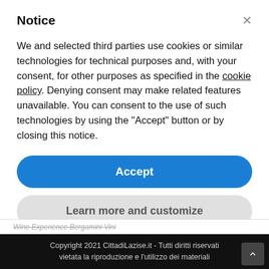Notice
We and selected third parties use cookies or similar technologies for technical purposes and, with your consent, for other purposes as specified in the cookie policy. Denying consent may make related features unavailable. You can consent to the use of such technologies by using the "Accept" button or by closing this notice.
Accept
Learn more and customize
Wine Experience Bergamini Vini
Copyright 2021 CittadiLazise.it - Tutti diritti riservati vietata la riproduzione e l'utilizzo dei materiali